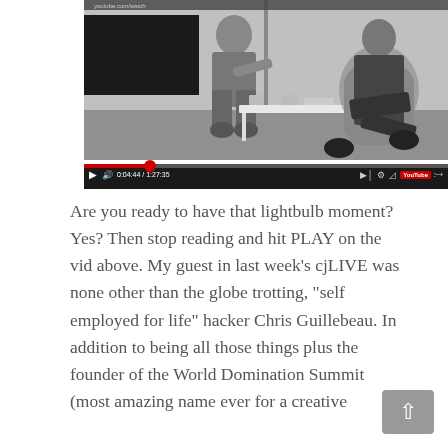[Figure (screenshot): A black and white video player screenshot showing two men seated across from each other in a modern interior setting with a coffee table between them. Video controls show 0:04:44 / 1:27:35 progress.]
Are you ready to have that lightbulb moment? Yes? Then stop reading and hit PLAY on the vid above. My guest in last week's cjLIVE was none other than the globe trotting, "self employed for life" hacker Chris Guillebeau. In addition to being all those things plus the founder of the World Domination Summit (most amazing name ever for a creative